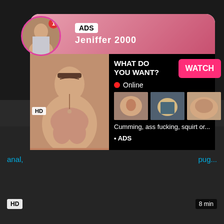[Figure (screenshot): Adult website screenshot with advertisement popup overlay showing profile 'Jeniffer 2000' with ADS label, WATCH button, online status, thumbnail images, and text 'Cumming, ass fucking, squirt or...' with ADS label. HD badge and video duration indicators visible. Bottom dark area with HD badge and 8 min duration.]
ADS
Jeniffer 2000
WHAT DO YOU WANT?
WATCH
Online
Cumming, ass fucking, squirt or...
• ADS
anal,
pug...
HD
8 min